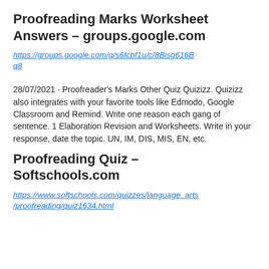Proofreading Marks Worksheet Answers – groups.google.com
https://groups.google.com/g/s6fcbf1u/c/8Bisg616Bq8
28/07/2021 · Proofreader's Marks Other Quiz Quizizz. Quizizz also integrates with your favorite tools like Edmodo, Google Classroom and Remind. Write one reason each gang of sentence. 1 Elaboration Revision and Worksheets. Write in your response, date the topic. UN, IM, DIS, MIS, EN, etc.
Proofreading Quiz – Softschools.com
https://www.softschools.com/quizzes/language_arts/proofreading/quiz1634.html